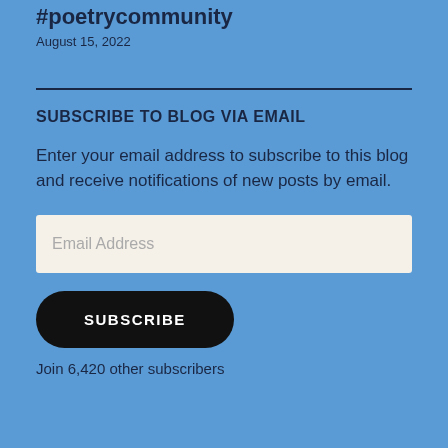#poetrycommunity
August 15, 2022
SUBSCRIBE TO BLOG VIA EMAIL
Enter your email address to subscribe to this blog and receive notifications of new posts by email.
Email Address
SUBSCRIBE
Join 6,420 other subscribers